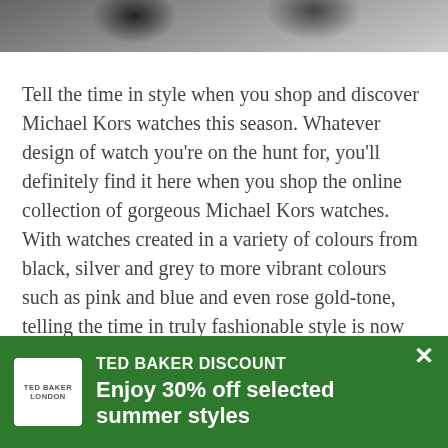[Figure (photo): Partial view of a person wearing a Michael Kors watch, cropped at top of page]
Tell the time in style when you shop and discover Michael Kors watches this season. Whatever design of watch you're on the hunt for, you'll definitely find it here when you shop the online collection of gorgeous Michael Kors watches. With watches created in a variety of colours from black, silver and grey to more vibrant colours such as pink and blue and even rose gold-tone, telling the time in truly fashionable style is now the trend of the moment when you shop Michael Kors watches this season.
If you're looking for a statement women's watch that you can wear to work and style for formal occasions, shop the Pyper watch collection now for timelessly elegant watch styles. Michael Kors has also created a super-sleek and stylish collection of Smartwatches for women to the
[Figure (infographic): Green banner advertisement: TED BAKER DISCOUNT - Enjoy 30% off selected summer styles, with Ted Baker logo on left and close button (×) on right]